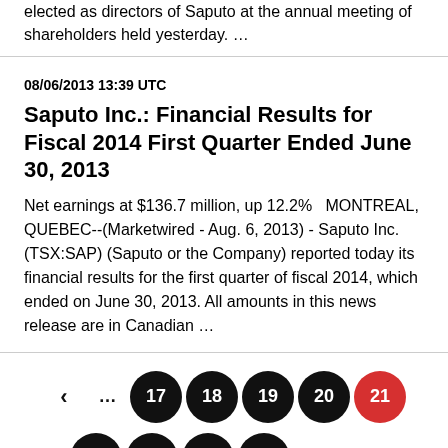elected as directors of Saputo at the annual meeting of shareholders held yesterday. ...
08/06/2013 13:39 UTC
Saputo Inc.: Financial Results for Fiscal 2014 First Quarter Ended June 30, 2013
Net earnings at $136.7 million, up 12.2%   MONTREAL, QUEBEC--(Marketwired - Aug. 6, 2013) - Saputo Inc. (TSX:SAP) (Saputo or the Company) reported today its financial results for the first quarter of fiscal 2014, which ended on June 30, 2013. All amounts in this news release are in Canadian ...
Pagination: < ... 17 18 19 20 21(active) 22 23 24 25 ... >